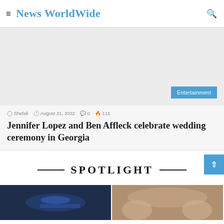≡  News WorldWide  🔍
[Figure (other): Gray advertisement/banner area with blue Entertainment tag in bottom right corner]
Shefali  August 21, 2022  0  111
Jennifer Lopez and Ben Affleck celebrate wedding ceremony in Georgia
SPOTLIGHT
[Figure (photo): Two photos side by side at the bottom of the page, partially visible. Left image appears dark/blue-toned, right image appears to show a crowd.]